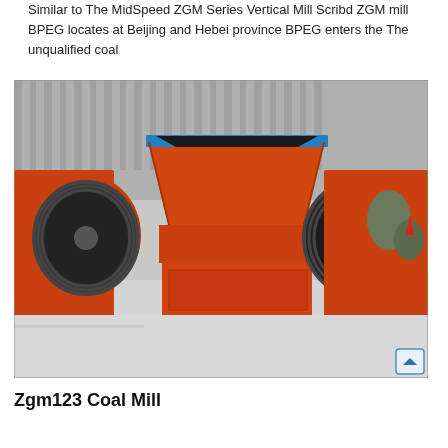Similar to The MidSpeed ZGM Series Vertical Mill Scribd ZGM mill BPEG locates at Beijing and Hebei province BPEG enters the The unqualified coal
[Figure (photo): Photograph of a large orange industrial coal mill / crusher machine with black pulley wheels on either side, blue-trimmed hopper on top, photographed outdoors on a concrete surface with snow-covered surroundings.]
Zgm123 Coal Mill